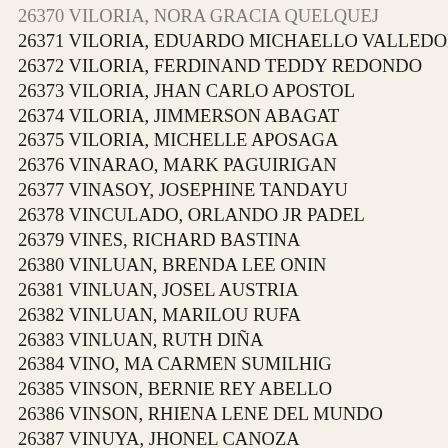26370 VILORIA, NORA GRACIA QUELQUEJ
26371 VILORIA, EDUARDO MICHAELLO VALLEDOR
26372 VILORIA, FERDINAND TEDDY REDONDO
26373 VILORIA, JHAN CARLO APOSTOL
26374 VILORIA, JIMMERSON ABAGAT
26375 VILORIA, MICHELLE APOSAGA
26376 VINARAO, MARK PAGUIRIGAN
26377 VINASOY, JOSEPHINE TANDAYU
26378 VINCULADO, ORLANDO JR PADEL
26379 VINES, RICHARD BASTINA
26380 VINLUAN, BRENDA LEE ONIN
26381 VINLUAN, JOSEL AUSTRIA
26382 VINLUAN, MARILOU RUFA
26383 VINLUAN, RUTH DIÑA
26384 VINO, MA CARMEN SUMILHIG
26385 VINSON, BERNIE REY ABELLO
26386 VINSON, RHIENA LENE DEL MUNDO
26387 VINUYA, JHONEL CANOZA
26388 VINUYA, TIRSO MACAPAGAL
26389 VINZON, SARAH JOY DE GUZMAN
26390 VINZONS, JOSEPH JUSTIN GONZALES
26391 VIODOR, ANNA ROSE BAYATE
26392 VIOLATA, KRISTINE JOY ABAÑADOR